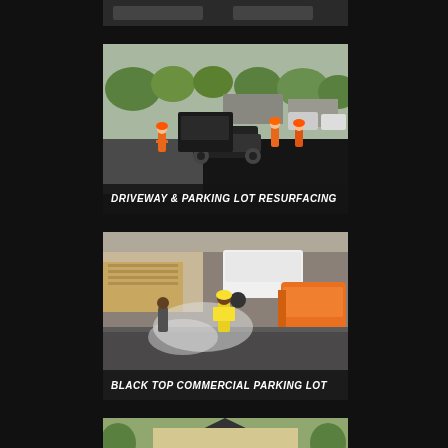[Figure (photo): Partially visible photo at top of page, cut off, appears to show a paving/construction scene with text overlay (cut off).]
[Figure (photo): Photo of workers and a paving machine resurfacing a commercial parking lot or driveway. Workers in orange safety vests operating asphalt paving equipment. Trees visible in background.]
DRIVEWAY & PARKING LOT RESURFACING
[Figure (photo): Photo of construction workers in safety vests using heavy orange machinery (paver) to lay blacktop on a commercial parking lot. Dust/steam visible. Truck in background.]
BLACK TOP COMMERCIAL PARKING LOT
[Figure (photo): Partial photo at bottom of page showing a residential home with a dark shingled roof, light yellow/cream exterior, surrounded by green trees and lawn. Partially cut off.]